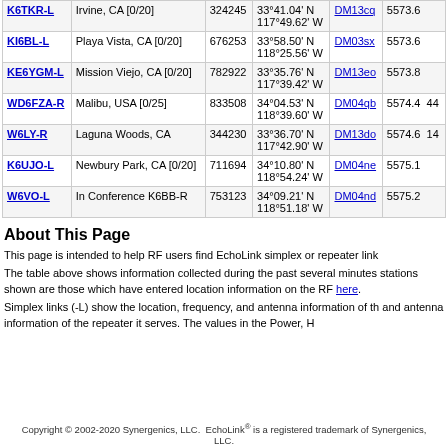| Callsign | Location | Node | Coordinates | Grid | Freq |
| --- | --- | --- | --- | --- | --- |
| K6TKR-L | Irvine, CA [0/20] | 324245 | 33°41.04' N 117°49.62' W | DM13cq | 5573.6 |
| KI6BL-L | Playa Vista, CA [0/20] | 676253 | 33°58.50' N 118°25.56' W | DM03sx | 5573.6 |
| KE6YGM-L | Mission Viejo, CA [0/20] | 782922 | 33°35.76' N 117°39.42' W | DM13eo | 5573.8 |
| WD6FZA-R | Malibu, USA [0/25] | 833508 | 34°04.53' N 118°39.60' W | DM04qb | 5574.4 |
| W6LY-R | Laguna Woods, CA | 344230 | 33°36.70' N 117°42.90' W | DM13do | 5574.6 |
| K6UJO-L | Newbury Park, CA [0/20] | 711694 | 34°10.80' N 118°54.24' W | DM04ne | 5575.1 |
| W6VO-L | In Conference K6BB-R | 753123 | 34°09.21' N 118°51.18' W | DM04nd | 5575.2 |
About This Page
This page is intended to help RF users find EchoLink simplex or repeater link
The table above shows information collected during the past several minutes stations shown are those which have entered location information on the RF here.
Simplex links (-L) show the location, frequency, and antenna information of th and antenna information of the repeater it serves. The values in the Power, H
Copyright © 2002-2020 Synergenics, LLC.  EchoLink® is a registered trademark of Synergenics, LLC.